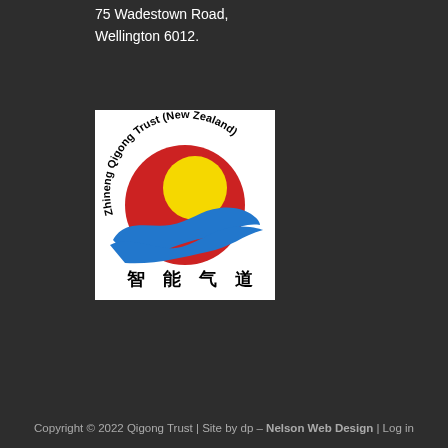75 Wadestown Road, Wellington 6012.
[Figure (logo): Zhineng Qigong Trust (New Zealand) logo: circular logo with red sun/circle, yellow inner circle, blue swoosh ribbon, and Chinese characters below, all on a white square background.]
Copyright © 2022 Qigong Trust | Site by dp - Nelson Web Design | Log in